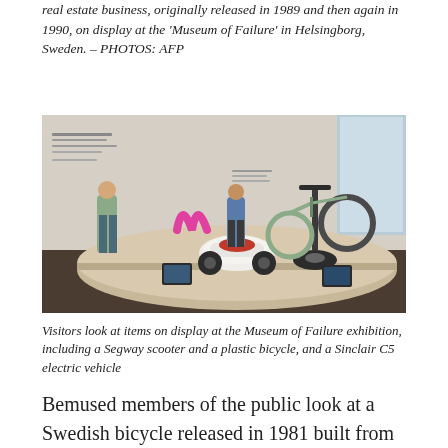real estate business, originally released in 1989 and then again in 1990, on display at the 'Museum of Failure' in Helsingborg, Sweden. – PHOTOS: AFP
[Figure (photo): Interior of the Museum of Failure exhibition showing a circular platform display with a Sinclair C5 electric vehicle, a plastic bicycle, and a Segway scooter. Two visitors stand nearby. Text panels on walls visible in background.]
Visitors look at items on display at the Museum of Failure exhibition, including a Segway scooter and a plastic bicycle, and a Sinclair C5 electric vehicle
Bemused members of the public look at a Swedish bicycle released in 1981 built from plastic that turned out not to be